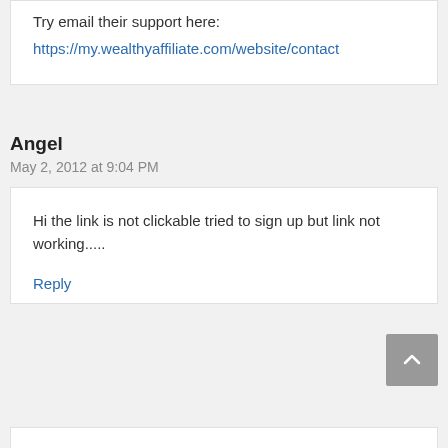Try email their support here: https://my.wealthyaffiliate.com/website/contact
Angel
May 2, 2012 at 9:04 PM
Hi the link is not clickable tried to sign up but link not working.....
Reply